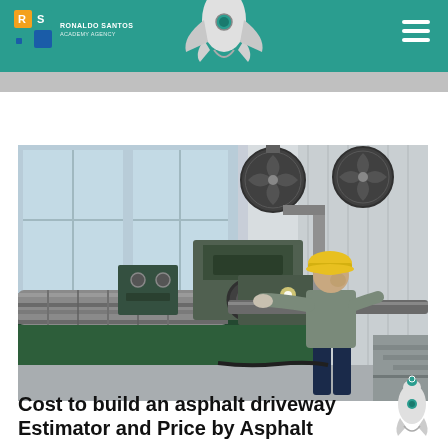Header with logo, navigation and rocket illustration
[Figure (photo): Industrial worker in yellow hard hat operating a large green lathe/milling machine in a factory, with industrial fans visible in the background]
Cost to build an asphalt driveway Estimator and Price by Asphalt